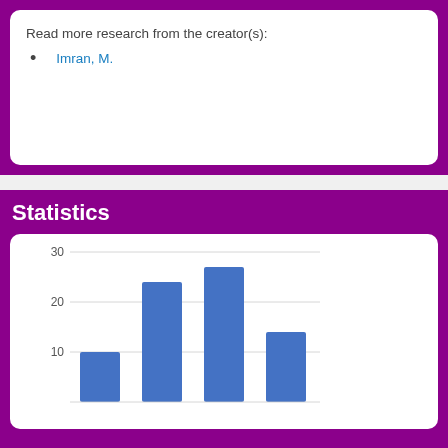Read more research from the creator(s):
Imran, M.
Statistics
[Figure (bar-chart): ]